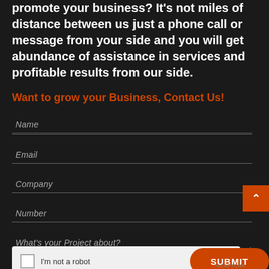promote your business? It's not miles of distance between us just a phone call or message from your side and you will get abundance of assistance in services and profitable results from our side.
Want to grow your Business, Contact Us!
Name
Email
Company
Number
What's your Project about?
I'm not a robot
SUBMIT